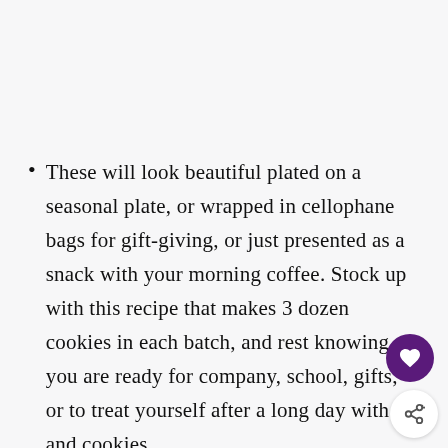These will look beautiful plated on a seasonal plate, or wrapped in cellophane bags for gift-giving, or just presented as a snack with your morning coffee. Stock up with this recipe that makes 3 dozen cookies in each batch, and rest knowing you are ready for company, school, gifts, or to treat yourself after a long day with tea and cookies.